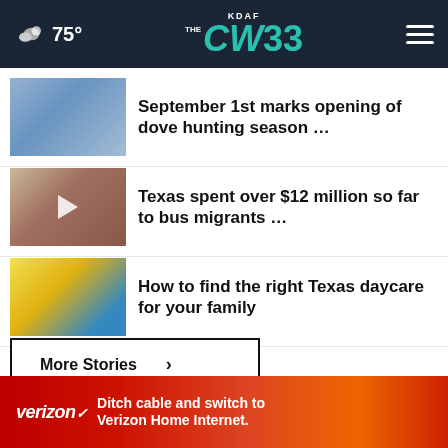KDAF CW33 — 75°
September 1st marks opening of dove hunting season …
Texas spent over $12 million so far to bus migrants …
How to find the right Texas daycare for your family
More Stories ›
[Figure (screenshot): Verizon advertisement banner: 'Ditch cable and switch to Verizon Home Internet.']